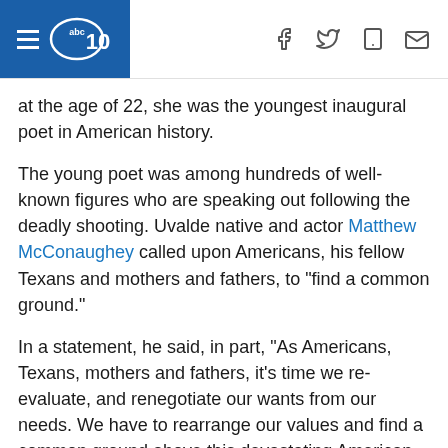abc10 [navigation header with hamburger menu and social icons]
at the age of 22, she was the youngest inaugural poet in American history.
The young poet was among hundreds of well-known figures who are speaking out following the deadly shooting. Uvalde native and actor Matthew McConaughey called upon Americans, his fellow Texans and mothers and fathers, to "find a common ground."
In a statement, he said, in part, "As Americans, Texans, mothers and fathers, it's time we re-evaluate, and renegotiate our wants from our needs. We have to rearrange our values and find a common ground above this devastating American reality that has tragically become our children's issue."
[Figure (screenshot): Video thumbnail showing a person in a dark cap against a red/dark background, with text overlay reading 'At least 21 dead after Uvalde schoo...' and ABC News and local station logos.]